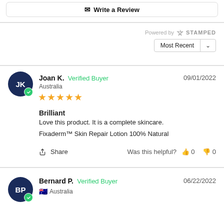✉ Write a Review
Powered by STAMPED
Most Recent
Joan K.  Verified Buyer  Australia  09/01/2022  ★★★★★
Brilliant
Love this product. It is a complete skincare.
Fixaderm™ Skin Repair Lotion 100% Natural
Share  Was this helpful?  👍 0  👎 0
Bernard P.  Verified Buyer  Australia  06/22/2022